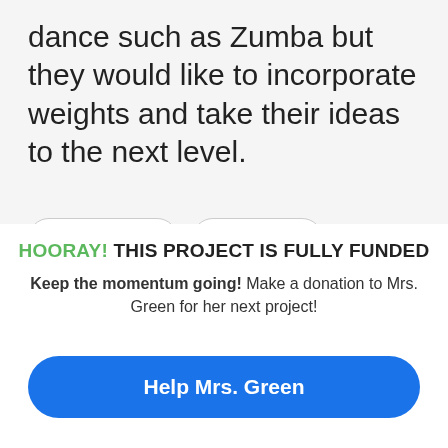dance such as Zumba but they would like to incorporate weights and take their ideas to the next level.
Terrytown, LA
Grades 6-8
More than three-quarters of students from low-income households
Gym & Fitness   Health & Wellness   Traditional School
HOORAY! THIS PROJECT IS FULLY FUNDED
Keep the momentum going! Make a donation to Mrs. Green for her next project!
Help Mrs. Green